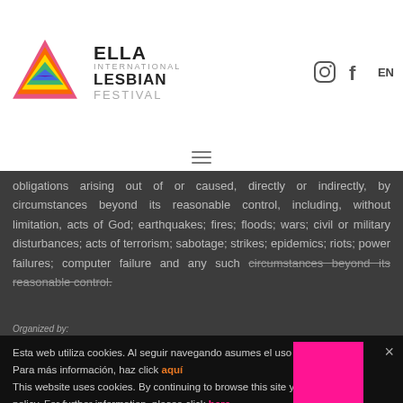[Figure (logo): ELLA International Lesbian Festival logo with rainbow triangle and text]
ELLA INTERNATIONAL LESBIAN FESTIVAL — EN (language selector) — Instagram and Facebook icons
obligations arising out of or caused, directly or indirectly, by circumstances beyond its reasonable control, including, without limitation, acts of God; earthquakes; fires; floods; wars; civil or military disturbances; acts of terrorism; sabotage; strikes; epidemics; riots; power failures; computer failure and any such circumstances beyond its reasonable control.
Esta web utiliza cookies. Al seguir navegando asumes el uso de las mismas. Para más información, haz click aquí
This website uses cookies. By continuing to browse this site you accept this policy. For further information, please click here.
ELLA Hansen Travel GmbH · Schnorr-von-Carolsfeld-Str. · 81927, Munich, Germany